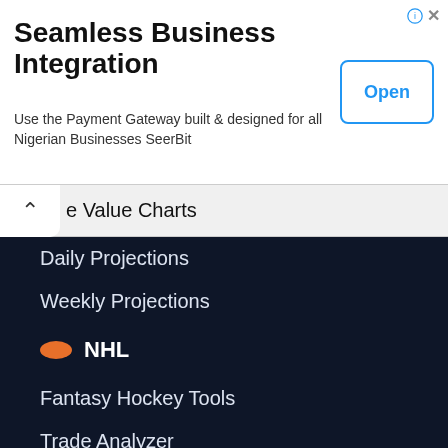[Figure (screenshot): Advertisement banner for SeerBit payment gateway. Title: Seamless Business Integration. Body: Use the Payment Gateway built & designed for all Nigerian Businesses SeerBit. Has an Open button on the right.]
e Value Charts
Daily Projections
Weekly Projections
NHL
Fantasy Hockey Tools
Trade Analyzer
Start/Sit Tool
Rate My Team
Fantasy Hockey Assistant
Fantasy Hockey Draft Assistant
Waiver Wire